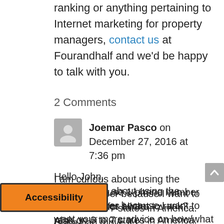ranking or anything pertaining to Internet marketing for property managers, contact us at Fourandhalf and we'd be happy to talk with you.
2 Comments
Joemar Pasco on December 27, 2016 at 7:36 pm
Hello John,
I am curious about using the phone number because I want to rank on 6 to 7 states in America. Is it a bad move if I use 1 phone number for all the to 6 to 7 states I want to rank? Also, I want your more advice on how/what to